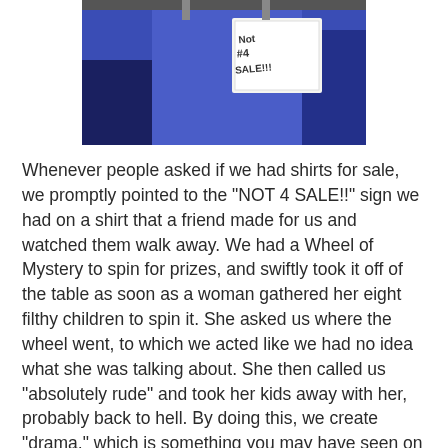[Figure (photo): A blue shirt hanging on a rack with a handwritten sign that reads 'NOT 4 SALE!!' attached to it.]
Whenever people asked if we had shirts for sale, we promptly pointed to the "NOT 4 SALE!!" sign we had on a shirt that a friend made for us and watched them walk away. We had a Wheel of Mystery to spin for prizes, and swiftly took it off of the table as soon as a woman gathered her eight filthy children to spin it. She asked us where the wheel went, to which we acted like we had no idea what she was talking about. She then called us "absolutely rude" and took her kids away with her, probably back to hell. By doing this, we create "drama," which is something you may have seen on TNT, and as we all know, they get remarkable ratings. Do the math.